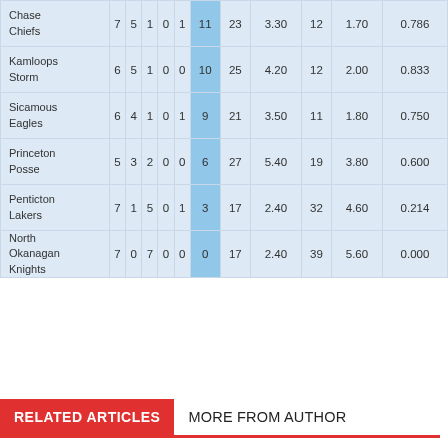| Team | GP | W | L | OT | PTS | GF | GAA | GA | GAAA | PCT |
| --- | --- | --- | --- | --- | --- | --- | --- | --- | --- | --- |
| Chase Chiefs | 7 | 5 | 1 | 0 | 1 | 11 | 23 | 3.30 | 12 | 1.70 | 0.786 |
| Kamloops Storm | 6 | 5 | 1 | 0 | 0 | 10 | 25 | 4.20 | 12 | 2.00 | 0.833 |
| Sicamous Eagles | 6 | 4 | 1 | 0 | 1 | 9 | 21 | 3.50 | 11 | 1.80 | 0.750 |
| Princeton Posse | 5 | 3 | 2 | 0 | 0 | 6 | 27 | 5.40 | 19 | 3.80 | 0.600 |
| Penticton Lakers | 7 | 1 | 5 | 0 | 1 | 3 | 17 | 2.40 | 32 | 4.60 | 0.214 |
| North Okanagan Knights | 7 | 0 | 7 | 0 | 0 | 0 | 17 | 2.40 | 39 | 5.60 | 0.000 |
RELATED ARTICLES | MORE FROM AUTHOR